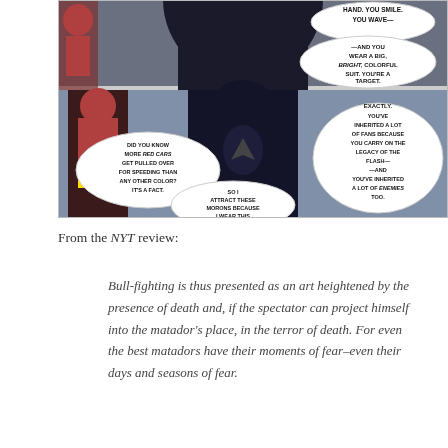[Figure (illustration): A comic book panel showing The Flash and another superhero (in dark costume, viewed from behind) in conversation. Speech bubbles read: 'HAND. YOU SMILE. YOU WAVE--', '--AND YOU WEAR A BIG, BRIGHT, COLORFUL SUIT. YOU'RE A TARGET.', 'DID YOU KNOW MORE RED CARS GET PULLED OVER FOR SPEEDING THAN ANY OTHER COLOR? IT'S A FACT.', 'EXACTLY. YOU'VE INHERITED A LOT OF FANS BECAUSE YOU CARRY ON THE LEGACY OF THE FLASH-- --AND YOU'VE INHERITED A LOT OF ENEMIES TOO.', 'SO I ATTRACT THESE MORONS BECAUSE I WEAR THIS COSTUME.']
From the NYT review:
Bull-fighting is thus presented as an art heightened by the presence of death and, if the spectator can project himself into the matador's place, in the terror of death. For even the best matadors have their moments of fear–even their days and seasons of fear.